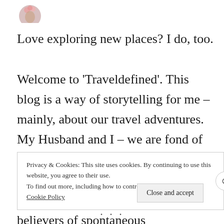[Figure (photo): Small circular avatar photo of a person with flowers, partially visible at top left]
Love exploring new places? I do, too. Welcome to 'Traveldefined'. This blog is a way of storytelling for me – mainly, about our travel adventures. My Husband and I – we are fond of touring around the country, enjoy delving into history, love clicking memorable pictures and are firm believers of spontaneous
Privacy & Cookies: This site uses cookies. By continuing to use this website, you agree to their use. To find out more, including how to control Cookie Policy
Close and accept